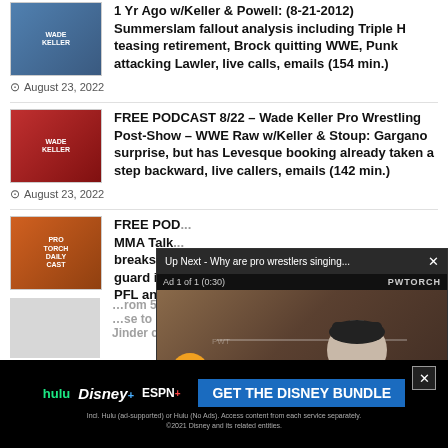1 Yr Ago w/Keller & Powell: (8-21-2012) Summerslam fallout analysis including Triple H teasing retirement, Brock quitting WWE, Punk attacking Lawler, live calls, emails (154 min.)
August 23, 2022
FREE PODCAST 8/22 – Wade Keller Pro Wrestling Post-Show – WWE Raw w/Keller & Stoup: Gargano surprise, but has Levesque booking already taken a step backward, live callers, emails (142 min.)
August 23, 2022
FREE PODCAST 8/22 – MMA Talk: breaks down guard in th PFL and B...
[Figure (screenshot): Video overlay popup: 'Up Next - Why are pro wrestlers singing...' with an ad player showing a wrestler in a cap, PWTORCH branding, Ad 1 of 1 (0:30), mute button]
August 22, 2022
[Figure (screenshot): Bottom banner ad for Disney Bundle: hulu, Disney+, ESPN+ with GET THE DISNEY BUNDLE CTA button, Incl. Hulu (ad-supported) or Hulu (No Ads). Access content from each service separately. ©2021 Disney and its related entities.]